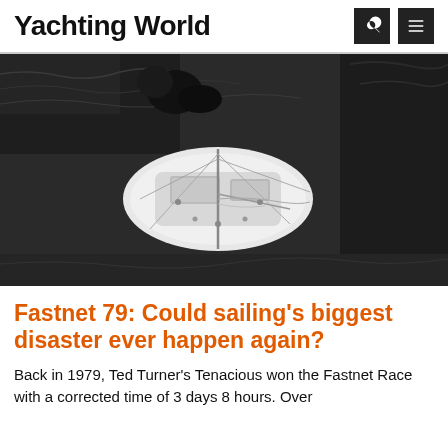Yachting World
[Figure (photo): Aerial black and white photograph of a sailing yacht viewed from above, showing the deck and mast, surrounded by choppy dark water]
Fastnet 79: Could sailing's biggest disaster ever happen again?
Back in 1979, Ted Turner's Tenacious won the Fastnet Race with a corrected time of 3 days 8 hours. Over